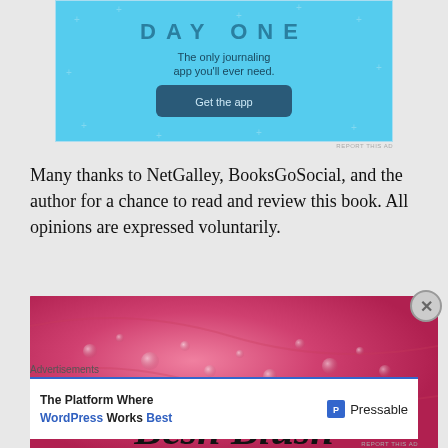[Figure (screenshot): Light blue ad banner for 'DAY ONE' journaling app with text 'The only journaling app you'll ever need.' and a 'Get the app' button with star/plus decorations.]
REPORT THIS AD
Many thanks to NetGalley, BooksGoSocial, and the author for a chance to read and review this book. All opinions are expressed voluntarily.
[Figure (photo): Close-up photo of a pink rose petal with water droplets, with cursive text overlay reading 'Besh Blush' partially visible]
[Figure (screenshot): Advertisement: 'The Platform Where WordPress Works Best' - Pressable]
REPORT THIS AD